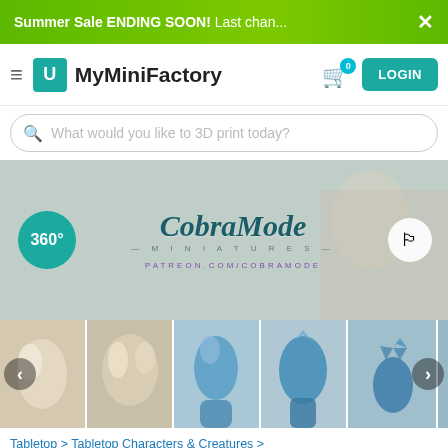Summer Sale ENDING SOON! Last chan... ×
[Figure (screenshot): MyMiniFactory website navigation bar with hamburger menu, logo, cart with 0 items badge, and LOGIN button]
What would you like to 3D print today?
[Figure (screenshot): CobraMode Miniatures hero banner with 360° badge, logo, and PATREON.COM/COBRAMODE text, with flag icon]
[Figure (photo): Row of 3D printed miniature thumbnails showing fantasy creatures in cream/bone and blue colorways, with left and right navigation arrows]
Tabletop > Tabletop Characters & Creatures > Fantasy Universe  |  Tabletop > Tabletop Characters & Creatures  |  Tabletop  |  Store
5,324 views